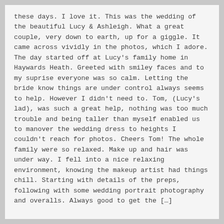these days. I love it. This was the wedding of the beautiful Lucy & Ashleigh. What a great couple, very down to earth, up for a giggle. It came across vividly in the photos, which I adore. The day started off at Lucy's family home in Haywards Heath. Greeted with smiley faces and to my suprise everyone was so calm. Letting the bride know things are under control always seems to help. However I didn't need to. Tom, (Lucy's lad), was such a great help, nothing was too much trouble and being taller than myself enabled us to manover the wedding dress to heights I couldn't reach for photos. Cheers Tom! The whole family were so relaxed. Make up and hair was under way. I fell into a nice relaxing environment, knowing the makeup artist had things chill. Starting with details of the preps, following with some wedding portrait photography and overalls. Always good to get the […]